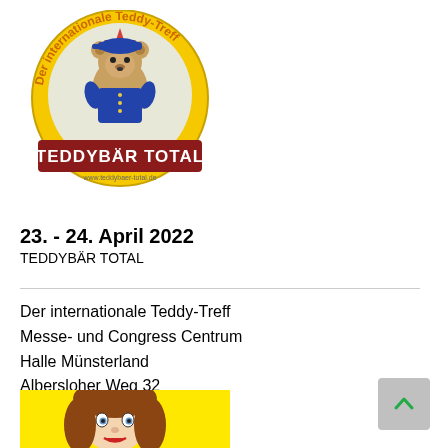[Figure (logo): Teddybär Total logo: circular badge with yellow background, red star, teddy bear in uniform, text 'Der internationale Teddy-Treff' around the top, 'TEDDYBÄR TOTAL' in white text on dark red banner at bottom, website www.teddybaer-total.de]
23. - 24. April 2022
TEDDYBÄR TOTAL
Der internationale Teddy-Treff
Messe- und Congress Centrum
Halle Münsterland
Albersloher Weg 32
48155 Münster
[Figure (illustration): Vintage-style illustration of a doll/girl face with brown hair and red lips on a yellow background]